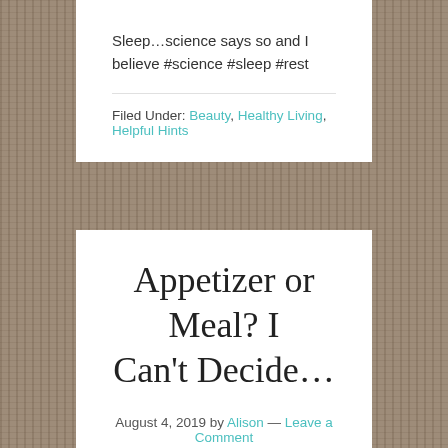Sleep…science says so and I believe #science #sleep #rest
Filed Under: Beauty, Healthy Living, Helpful Hints
Appetizer or Meal? I Can't Decide…
August 4, 2019 by Alison — Leave a Comment
[Figure (photo): Food packaging products (Tyson branded bags) shown in a row against dark background]